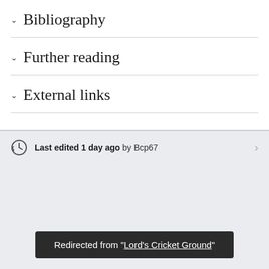Bibliography
Further reading
External links
Last edited 1 day ago by Bcp67
Redirected from "Lord's Cricket Ground"